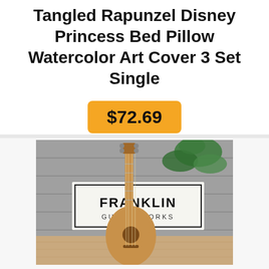Tangled Rapunzel Disney Princess Bed Pillow Watercolor Art Cover 3 Set Single
$72.69
[Figure (photo): A ukulele leaning against a wooden sign reading 'FRANKLIN GUITAR WORKS', with green plant leaves visible in the background and a wooden floor surface.]